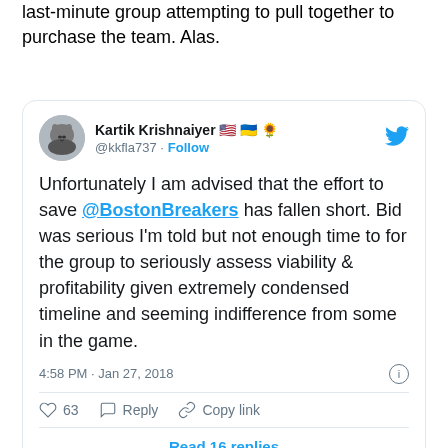last-minute group attempting to pull together to purchase the team. Alas.
[Figure (screenshot): Embedded tweet from @kkfla737 (Kartik Krishnaiyer) dated 4:58 PM Jan 27, 2018, stating: 'Unfortunately I am advised that the effort to save @BostonBreakers has fallen short. Bid was serious I'm told but not enough time to for the group to seriously assess viability & profitability given extremely condensed timeline and seeming indifference from some in the game.' With 63 likes, Reply, and Copy link actions.]